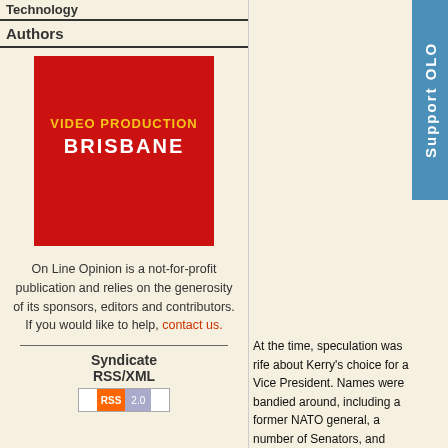Technology
Authors
[Figure (logo): Red square logo reading VIDEO PRODUCTION BRISBANE in white and yellow text]
On Line Opinion is a not-for-profit publication and relies on the generosity of its sponsors, editors and contributors. If you would like to help, contact us.
Syndicate RSS/XML
[Figure (logo): RSS 2.0 badge with orange RSS label and gray 2.0 label]
[Figure (other): Blue vertical support OLO tab on right side]
At the time, speculation was rife about Kerry's choice for a Vice President. Names were bandied around, including a former NATO general, a number of Senators, and even a prominent Republican.
Who knows, I thought, maybe he wanted to confound all the pundits and get a foreign-born President. You know - to illustrate his international credentials.
But then again, there is that whole Constitutional requirement thing. And what would happen if Kerry became the second JFK to fall victim to an assassin? Th
He probably just wanted money.